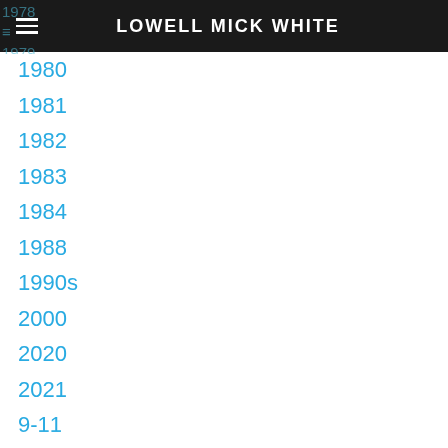LOWELL MICK WHITE
1980
1981
1982
1983
1984
1988
1990s
2000
2020
2021
9-11
.99 Cents
Academia
Advice
Aging
Alamo Bay Press
Alamo Bay Writers Workshopcff08d18c